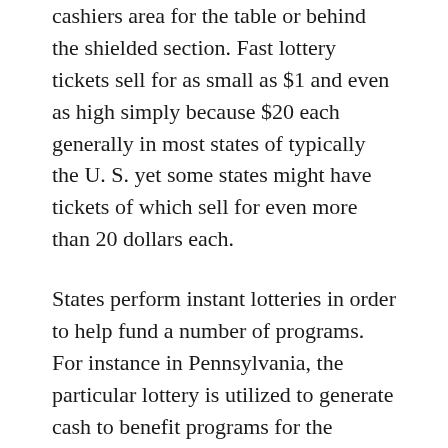cashiers area for the table or behind the shielded section. Fast lottery tickets sell for as small as $1 and even as high simply because $20 each generally in most states of typically the U. S. yet some states might have tickets of which sell for even more than 20 dollars each.
States perform instant lotteries in order to help fund a number of programs. For instance in Pennsylvania, the particular lottery is utilized to generate cash to benefit programs for the Commonwealth's old residents. In Iowa, since 1974, the particular Lottery has presented more than $13 billion to public education. Annually, typically the lottery provides regarding 4. 5 percent in the funding needed for Ohio's open public education. In Missouri, approximately 27. 3 cents of every dollar spent on the particular Lottery benefits education.